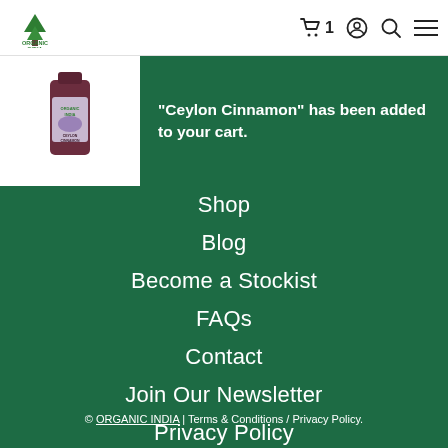Organic India — header with logo, cart (1), account, search, menu icons
[Figure (screenshot): Ceylon Cinnamon product bottle image in white notification panel]
"Ceylon Cinnamon" has been added to your cart.
Shop
Blog
Become a Stockist
FAQs
Contact
Join Our Newsletter
Privacy Policy
© ORGANIC INDIA | Terms & Conditions / Privacy Policy.